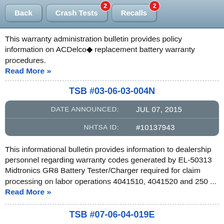Back | Crash Tests (2) | Recalls (2)
This warranty administration bulletin provides policy information on ACDelco® replacement battery warranty procedures. Read More »
TSB #03-06-03-004N
| Field | Value |
| --- | --- |
| DATE ANNOUNCED: | JUL 07, 2015 |
| NHTSA ID: | #10137943 |
This informational bulletin provides information to dealership personnel regarding warranty codes generated by EL-50313 Midtronics GR8 Battery Tester/Charger required for claim processing on labor operations 4041510, 4041520 and 250 ... Read More »
TSB #07-06-04-019E
| Field | Value |
| --- | --- |
| DATE ANNOUNCED: | JUN 23, 2015 |